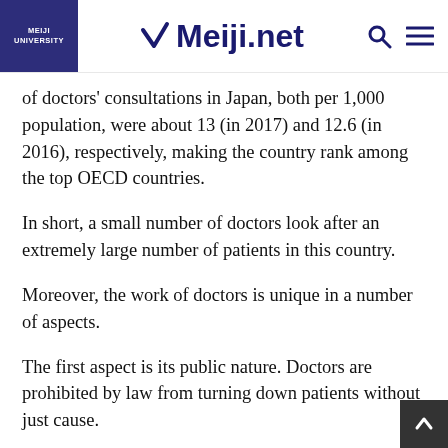MEIJI UNIVERSITY | Meiji.net
of doctors' consultations in Japan, both per 1,000 population, were about 13 (in 2017) and 12.6 (in 2016), respectively, making the country rank among the top OECD countries.
In short, a small number of doctors look after an extremely large number of patients in this country.
Moreover, the work of doctors is unique in a number of aspects.
The first aspect is its public nature. Doctors are prohibited by law from turning down patients without just cause.
Uncertainty is the second aspect. It is impossible to foresee how many patients will come or when doctors will be called to duty. Because different patients have different conditions, individualized treatments are needed. D...